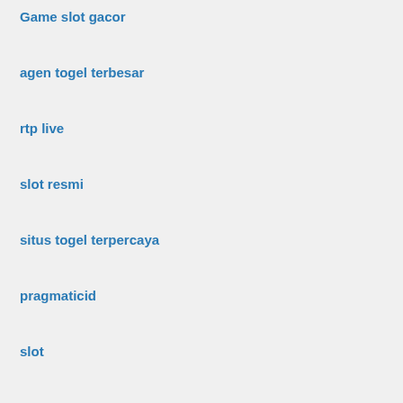Game slot gacor
agen togel terbesar
rtp live
slot resmi
situs togel terpercaya
pragmaticid
slot